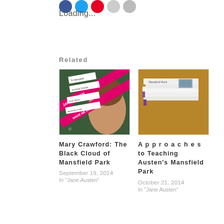Loading...
Related
[Figure (photo): Book cover collage for Jane Austen related books, featuring pink diagonal banner reading 'JANE AUSTEN MADE ME DO IT' with various author names and a woman's face]
Mary Crawford: The Black Cloud of Mansfield Park
September 19, 2014
[Figure (photo): Stack of white books/printed volumes titled 'Mansfield Park' on a wooden surface with purple edge visible]
Approaches to Teaching Austen's Mansfield Park
October 21, 2014
In "Jane Austen"